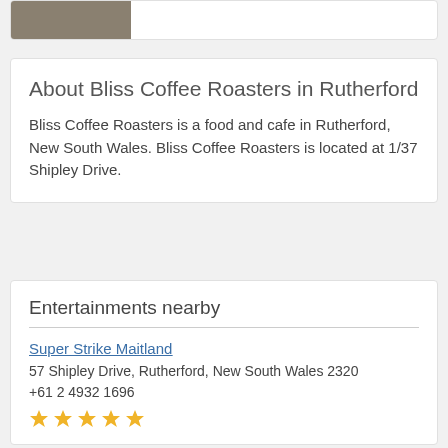[Figure (photo): Partial view of a photo at the top of a card, showing a dark/brown surface]
About Bliss Coffee Roasters in Rutherford
Bliss Coffee Roasters is a food and cafe in Rutherford, New South Wales. Bliss Coffee Roasters is located at 1/37 Shipley Drive.
Entertainments nearby
Super Strike Maitland
57 Shipley Drive, Rutherford, New South Wales 2320
+61 2 4932 1696